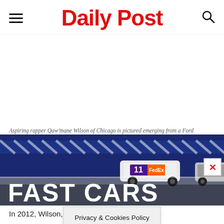Daily Post
[Figure (photo): NASCAR race cars on track with FedEx #11 car visible, blue barrier wall with diagonal stripes in background, FAST CARS text overlay in large white bold letters]
Aspiring rapper Qaw'mane Wilson of Chicago is pictured emerging from a Ford
In 2012, Wilson, who wa... ther hired a bl...
Privacy & Cookies Policy